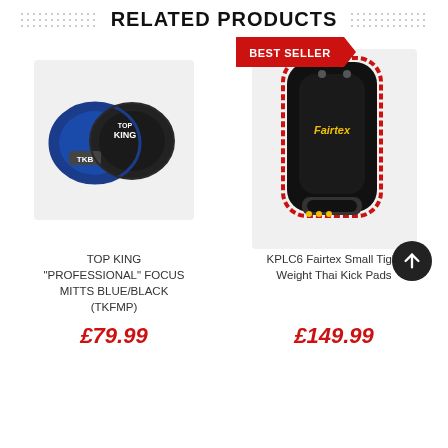RELATED PRODUCTS
[Figure (photo): Two blue/black Top King professional focus mitts boxing pads]
[Figure (photo): Black and red Fairtex KPLC6 Small Tight Weight Thai Kick Pads, with Best Seller badge]
TOP KING "PROFESSIONAL" FOCUS MITTS BLUE/BLACK (TKFMP)
£79.99
KPLC6 Fairtex Small Tight Weight Thai Kick Pads
£149.99